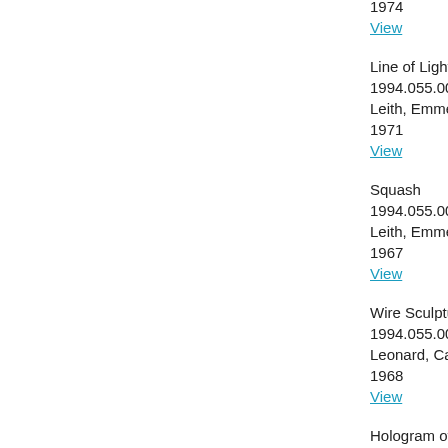1974
View
Line of Light
1994.055.006
Leith, Emmett N
1971
View
Squash
1994.055.007
Leith, Emmett N
1967
View
Wire Sculpture
1994.055.008
Leonard, Carl D
1968
View
Hologram of a H
1994.055.009
Upatnieks, Juris
1968
View